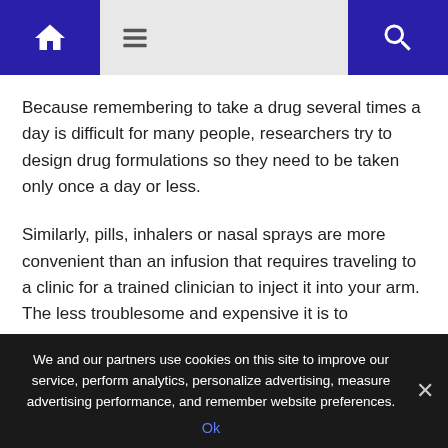Navigation bar with home icon, menu icon, and search icon
Because remembering to take a drug several times a day is difficult for many people, researchers try to design drug formulations so they need to be taken only once a day or less.
Similarly, pills, inhalers or nasal sprays are more convenient than an infusion that requires traveling to a clinic for a trained clinician to inject it into your arm. The less troublesome and expensive it is to administer a drug, the more likely it is that patients will take their medication when they need it. However, sometimes infusions or injections are the only effective way that certain drugs can be administered.
We and our partners use cookies on this site to improve our service, perform analytics, personalize advertising, measure advertising performance, and remember website preferences. Ok